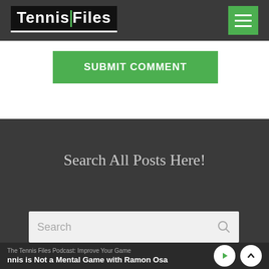Tennis Files
SUBMIT COMMENT
Search All Posts Here!
Search
The Tennis Files Podcast: Improve Your Game | nnis is Not a Mental Game with Ramon Osa